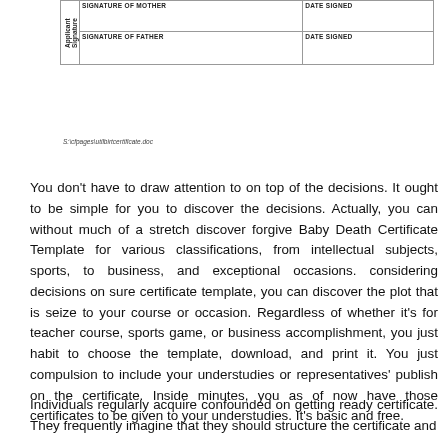[Figure (other): Partial view of a certificate form showing signature rows for 'Signature of Mother', 'Signature of Father' with 'Date Signed' columns, and a vertical label 'Applicant Signature' on the left side.]
S:\cfpages\utilbirtcertificate.doc
You don't have to draw attention to on top of the decisions. It ought to be simple for you to discover the decisions. Actually, you can without much of a stretch discover forgive Baby Death Certificate Template for various classifications, from intellectual subjects, sports, to business, and exceptional occasions. considering decisions on sure certificate template, you can discover the plot that is seize to your course or occasion. Regardless of whether it's for teacher course, sports game, or business accomplishment, you just habit to choose the template, download, and print it. You just compulsion to include your understudies or representatives' publish on the certificate. Inside minutes, you as of now have those certificates to be given to your understudies. It's basic and free.
Individuals regularly acquire confounded on getting ready certificate. They frequently imagine that they should structure the certificate and